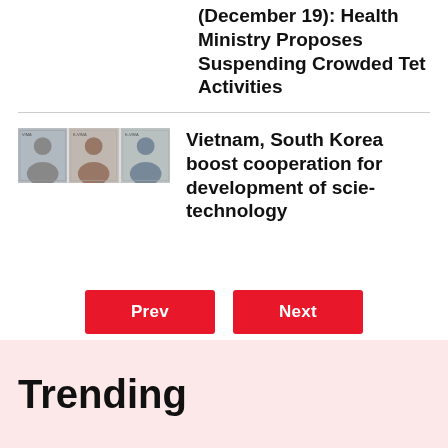(December 19): Health Ministry Proposes Suspending Crowded Tet Activities
[Figure (photo): Three-panel thumbnail image showing people]
Vietnam, South Korea boost cooperation for development of scie-technology
Prev
Next
Trending